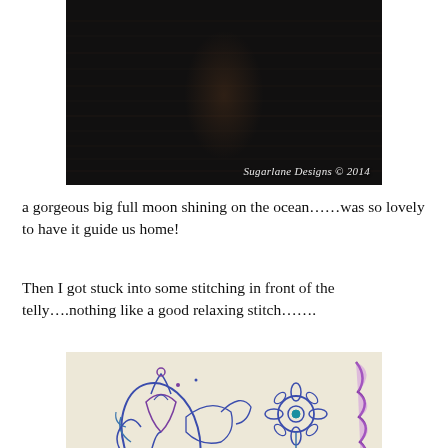[Figure (photo): Dark nighttime photo of moonlight shining on the ocean, with watermark text 'Sugarlane Designs © 2014' in the bottom right corner]
a gorgeous big full moon shining on the ocean……was so lovely to have it guide us home!
Then I got stuck into some stitching in front of the telly….nothing like a good relaxing stitch…….
[Figure (photo): Close-up photo of embroidery stitching on fabric showing decorative floral and folk-art patterns in blue and purple thread on light fabric]